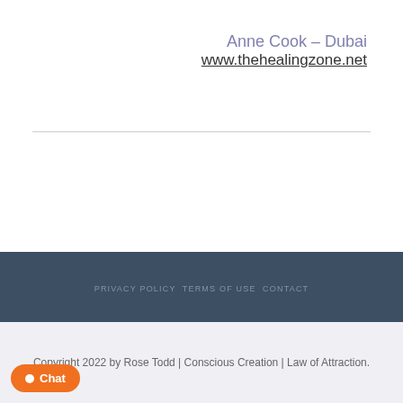Anne Cook – Dubai
www.thehealingzone.net
PRIVACY POLICY  TERMS OF USE  CONTACT
Copyright 2022 by Rose Todd | Conscious Creation | Law of Attraction.